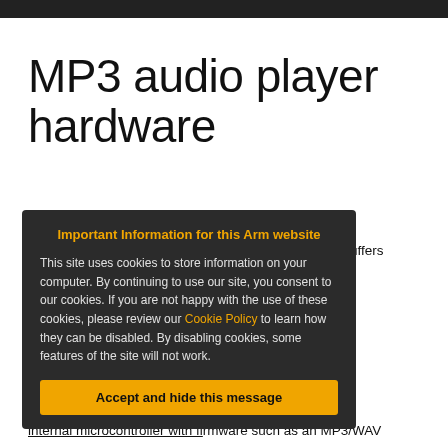MP3 audio player hardware
There are also some software only MP3 player code examples in the cookbook, but memory for the RAM buffers support not be enough RAM left to also support an RTOS in an application, if MP3 decoding. Also the DA on have enough bits or support
[Figure (screenshot): Cookie consent popup overlay with dark background. Title: 'Important Information for this Arm website'. Body text about cookies. Link: 'Cookie Policy'. Button: 'Accept and hide this message']
advanced audio IC with an internal microcontroller with firmware such as an MP3/WAV